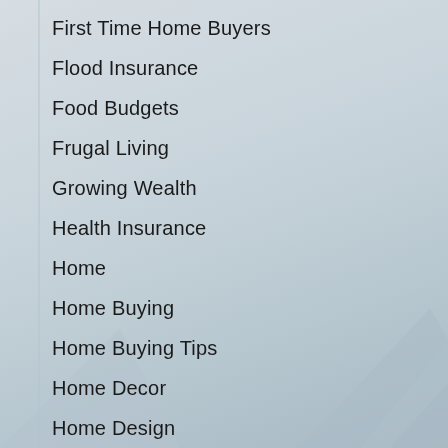First Time Home Buyers
Flood Insurance
Food Budgets
Frugal Living
Growing Wealth
Health Insurance
Home
Home Buying
Home Buying Tips
Home Decor
Home Design
Home Improvement
Home Loans